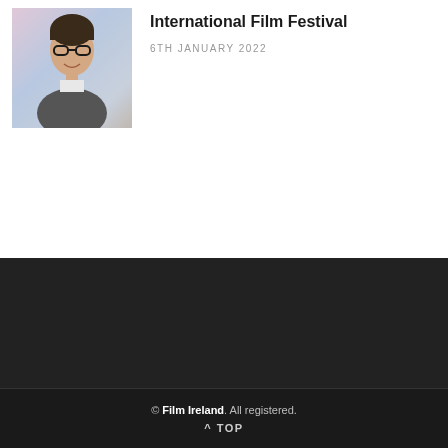[Figure (photo): Headshot photo of a person wearing glasses and a jacket, smiling slightly]
International Film Festival
6TH JANUARY 2022
© Film Ireland. All registered.
^ TOP